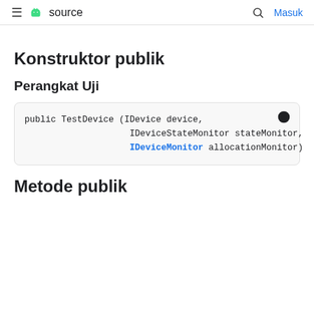≡ source  🔍  Masuk
Konstruktor publik
Perangkat Uji
public TestDevice (IDevice device,
                    IDeviceStateMonitor stateMonitor,
                    IDeviceMonitor allocationMonitor)
Metode publik